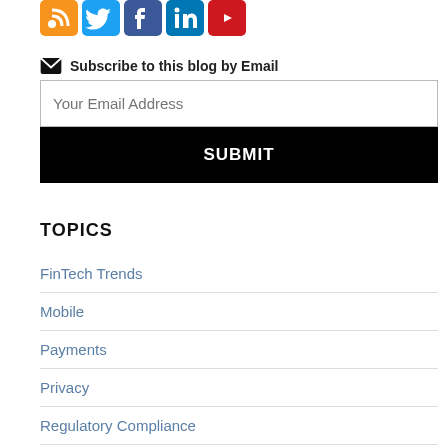[Figure (illustration): Social media icons: RSS (orange), Twitter (blue), Facebook (blue), LinkedIn (blue), YouTube (red/white)]
Subscribe to this blog by Email
Your Email Address
SUBMIT
TOPICS
FinTech Trends
Mobile
Payments
Privacy
Regulatory Compliance
TCPA
Uncategorized